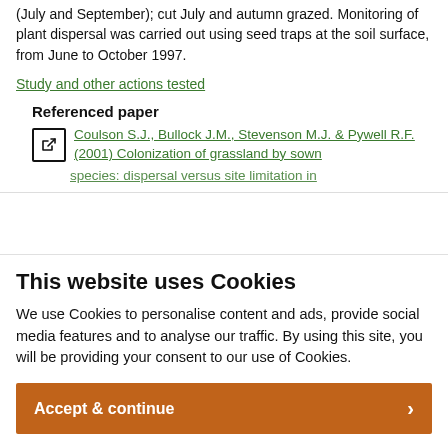(July and September); cut July and autumn grazed. Monitoring of plant dispersal was carried out using seed traps at the soil surface, from June to October 1997.
Study and other actions tested
Referenced paper
Coulson S.J., Bullock J.M., Stevenson M.J. & Pywell R.F. (2001) Colonization of grassland by sown
This website uses Cookies
We use Cookies to personalise content and ads, provide social media features and to analyse our traffic. By using this site, you will be providing your consent to our use of Cookies.
Accept & continue